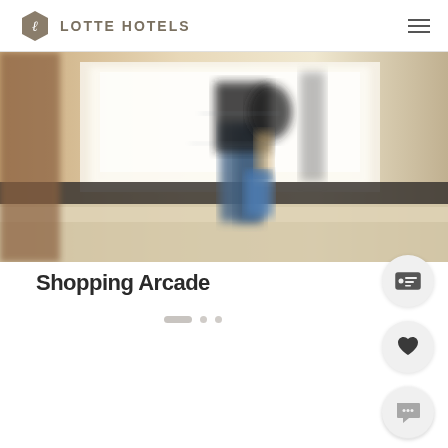LOTTE HOTELS
[Figure (photo): Blurred motion photo of a person walking through a shopping arcade, carrying shopping bags. Warm beige and blue tones with bright storefront in background.]
Shopping Arcade